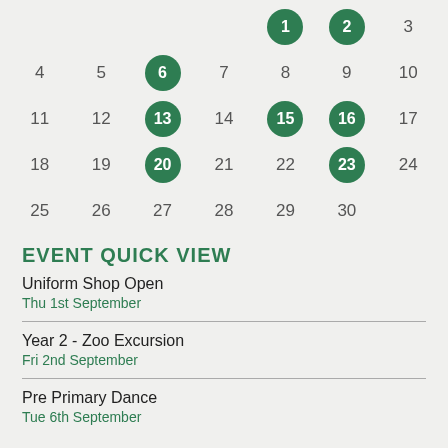[Figure (other): Monthly calendar grid showing September with highlighted dates (1, 2, 6, 13, 15, 16, 20, 23) marked with green circles]
EVENT QUICK VIEW
Uniform Shop Open
Thu 1st September
Year 2 - Zoo Excursion
Fri 2nd September
Pre Primary Dance
Tue 6th September